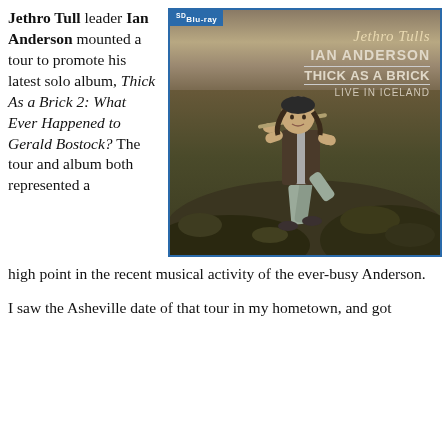Jethro Tull leader Ian Anderson mounted a tour to promote his latest solo album, Thick As a Brick 2: What Ever Happened to Gerald Bostock? The tour and album both represented a high point in the recent musical activity of the ever-busy Anderson.
[Figure (photo): Blu-ray disc cover for 'Jethro Tull's Ian Anderson – Thick As a Brick – Live in Iceland'. Shows Ian Anderson standing on rocky volcanic terrain holding a flute, wearing a vest and pants. The title text appears in the upper right. SD Blu-ray badge in upper left corner.]
I saw the Asheville date of that tour in my hometown, and got